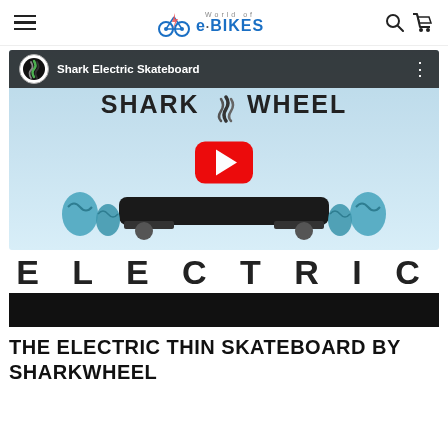World of e·BIKES — navigation header with hamburger menu, logo, search and cart icons
[Figure (screenshot): YouTube video thumbnail for Shark Electric Skateboard by Shark Wheel. Shows a black electric skateboard with bright blue shark-wheel shaped wheels, SHARK WHEEL logo text, and a red YouTube play button overlay. Top bar shows the Shark Wheel icon and title 'Shark Electric Skateboard'.]
ELECTRIC
THE ELECTRIC THIN SKATEBOARD BY SHARKWHEEL